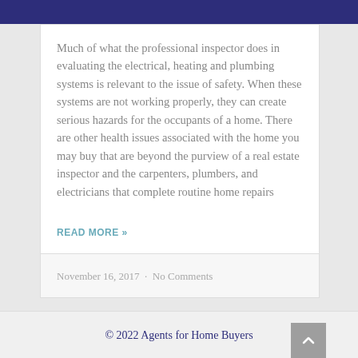Much of what the professional inspector does in evaluating the electrical, heating and plumbing systems is relevant to the issue of safety. When these systems are not working properly, they can create serious hazards for the occupants of a home. There are other health issues associated with the home you may buy that are beyond the purview of a real estate inspector and the carpenters, plumbers, and electricians that complete routine home repairs
READ MORE >>
November 16, 2017  ·  No Comments
© 2022 Agents for Home Buyers